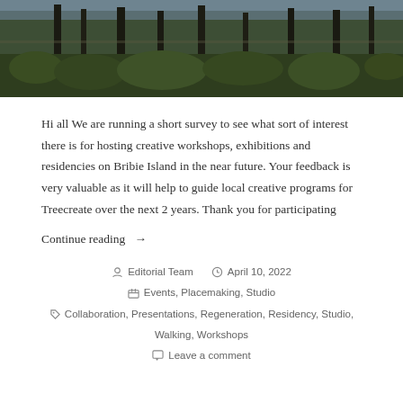[Figure (photo): Outdoor landscape photo showing trees and grass near water, dark toned nature scene]
Hi all We are running a short survey to see what sort of interest there is for hosting creative workshops, exhibitions and residencies on Bribie Island in the near future. Your feedback is very valuable as it will help to guide local creative programs for Treecreate over the next 2 years. Thank you for participating
Continue reading →
Editorial Team  April 10, 2022  Events, Placemaking, Studio  Collaboration, Presentations, Regeneration, Residency, Studio, Walking, Workshops  Leave a comment